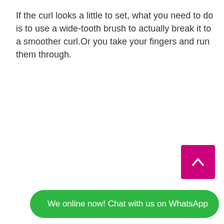If the curl looks a little to set, what you need to do is to use a wide-tooth brush to actually break it to a smoother curl.Or you take your fingers and run them through.
[Figure (other): Magenta/pink square button with a white upward chevron arrow, used as a scroll-to-top button]
[Figure (other): Green rounded pill-shaped WhatsApp chat button with WhatsApp logo icon and text 'We online now! Chat with us on WhatsApp']